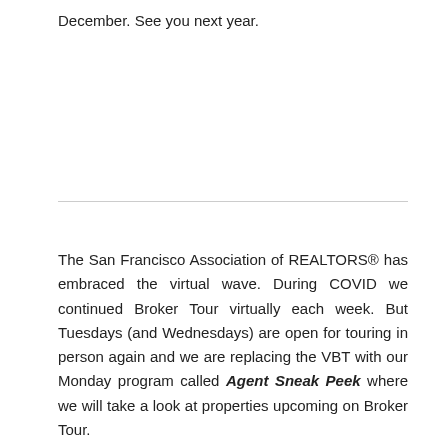December. See you next year.
The San Francisco Association of REALTORS® has embraced the virtual wave. During COVID we continued Broker Tour virtually each week. But Tuesdays (and Wednesdays) are open for touring in person again and we are replacing the VBT with our Monday program called Agent Sneak Peek where we will take a look at properties upcoming on Broker Tour.